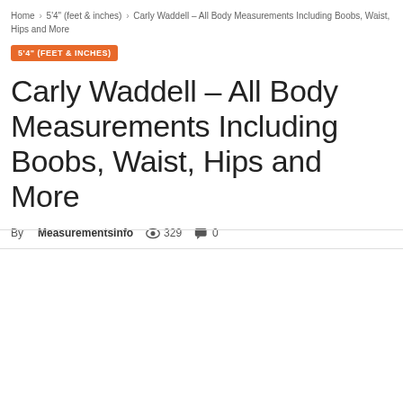Home › 5'4" (feet & inches) › Carly Waddell – All Body Measurements Including Boobs, Waist, Hips and More
5'4" (FEET & INCHES)
Carly Waddell – All Body Measurements Including Boobs, Waist, Hips and More
By MeasurementsInfo  329  0